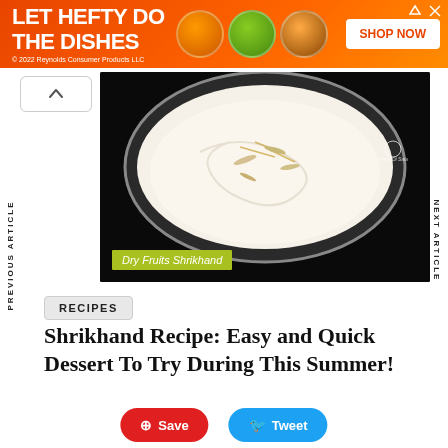[Figure (other): Orange advertisement banner: LET HEFTY DO THE DISHES with product images and SHOP NOW button. © 2022 Reynolds Consumer Products LLC]
[Figure (photo): Photo of Dry Fruits Shrikhand dessert in a black bowl with garnishing, overlaid with green label 'Dry Fruits Shrikhand' and a watermark logo.]
PREVIOUS ARTICLE
NEXT ARTICLE
RECIPES
Shrikhand Recipe: Easy and Quick Dessert To Try During This Summer!